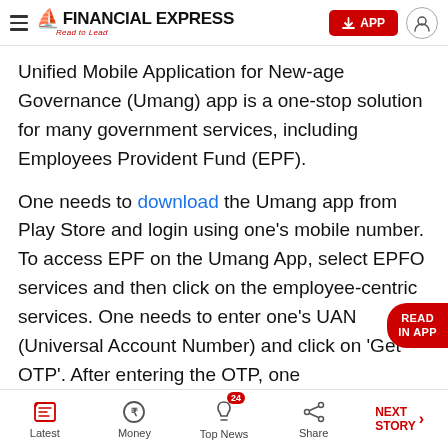Financial Express — Read to Lead | APP button | User icon
Unified Mobile Application for New-age Governance (Umang) app is a one-stop solution for many government services, including Employees Provident Fund (EPF).
One needs to download the Umang app from Play Store and login using one's mobile number. To access EPF on the Umang App, select EPFO services and then click on the employee-centric services. One needs to enter one's UAN (Universal Account Number) and click on 'Get OTP'. After entering the OTP, one
Latest | Money | Top News (24) | Share | NEXT STORY →